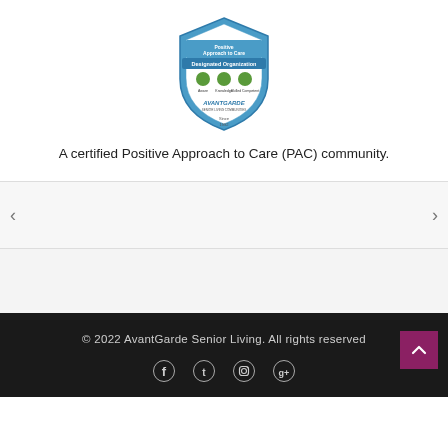[Figure (logo): PAC Designated Organization shield badge logo for AvantGarde Senior Living]
A certified Positive Approach to Care (PAC) community.
[Figure (other): Carousel navigation with left and right arrows on gray background]
[Figure (other): Gray reviews or content section]
© 2022 AvantGarde Senior Living. All rights reserved
[Figure (other): Social media icons: Facebook, Twitter, Instagram, Google+]